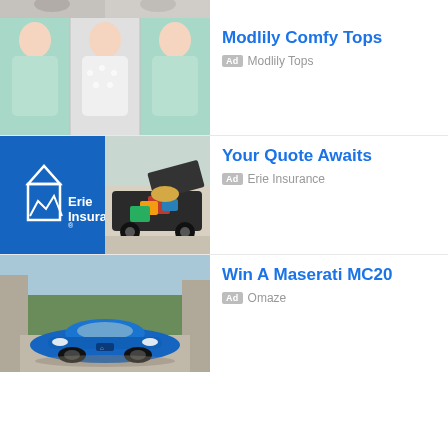[Figure (screenshot): Partial top ad row visible at very top of page — cropped image of people]
[Figure (photo): Three women wearing mint green tops — fashion clothing ad for Modlily Comfy Tops]
Modlily Comfy Tops
Ad  Modlily Tops
[Figure (photo): Erie Insurance ad — blue branded image on left, SUV with open trunk full of luggage on right]
Your Quote Awaits
Ad  Erie Insurance
[Figure (photo): Blue Maserati MC20 sports car parked at a stone building surrounded by trees]
Win A Maserati MC20
Ad  Omaze